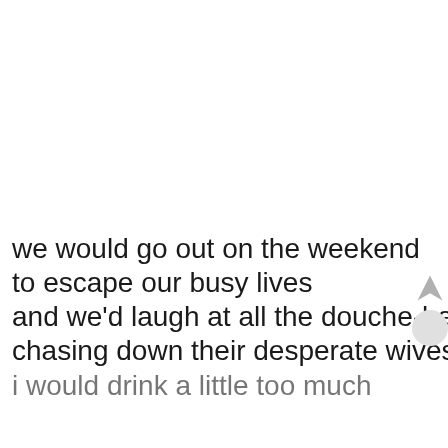we would go out on the weekend
to escape our busy lives
and we'd laugh at all the douche-bag guys
chasing down their desperate wives
i would drink a little too much